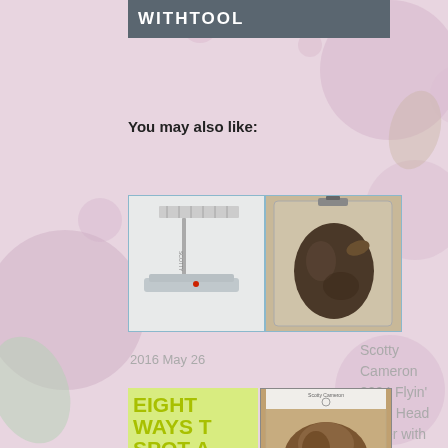WITHTOOL
You may also like:
[Figure (photo): Golf putter (Scotty Cameron style) lying on white surface with measurement ruler]
[Figure (photo): Golf putter head cover in plastic bag - duck shaped, dark/brown color]
2016 May 26
Scotty Cameron 2004 Flyin' Duck Head Cover with Tool
[Figure (photo): Yellow panel with partial text EIGHT WAYS TO SPOT A]
[Figure (photo): Scotty Cameron golf head cover in plastic bag, brown color, with Scotty Cameron logo header]